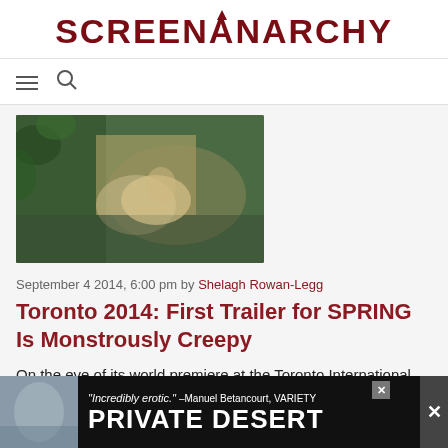SCREENANARCHY
[Figure (screenshot): Navigation bar with hamburger menu icon and search icon]
[Figure (photo): A dark atmospheric film still showing a figure, greenery and soft lighting]
September 4 2014, 6:00 pm by Shelagh Rowan-Legg
Toronto 2014: First Trailer for SPRING Is Monstrously Creepy
On the eve of its world premiere at the Toronto International Film Festival, we have a trailer for Spring. The sophomore film from Justin Benson and Aaron Moorhead (Resolution) was shot last year, mainly on the southwest coast of Italy,...
[Figure (photo): Advertisement for 'Private Desert' - shows quote 'Incredibly erotic.' -Manuel Betancourt, VARIETY and large white bold text PRIVATE DESERT on dark background with a woman's face]